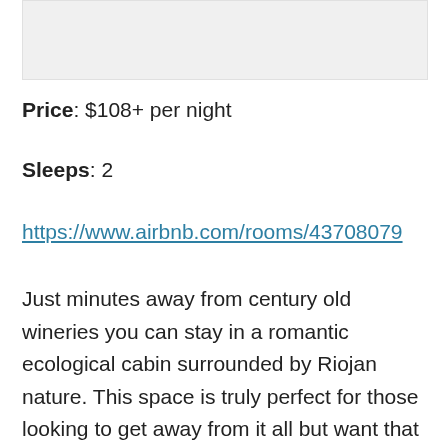[Figure (photo): Image placeholder - light gray rectangle]
Price: $108+ per night
Sleeps: 2
https://www.airbnb.com/rooms/43708079
Just minutes away from century old wineries you can stay in a romantic ecological cabin surrounded by Riojan nature. This space is truly perfect for those looking to get away from it all but want that special hospitality touch. Breakfast is included and brought to